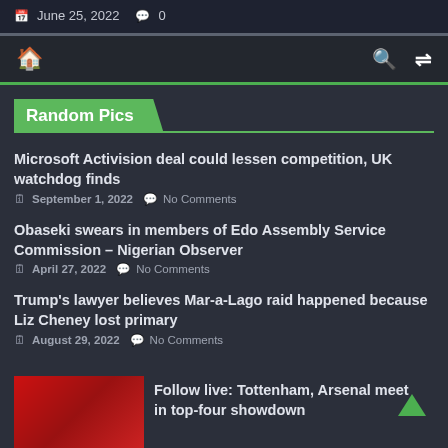June 25, 2022  0
Navigation bar with home, search, and shuffle icons
Random Pics
Microsoft Activision deal could lessen competition, UK watchdog finds
September 1, 2022  No Comments
Obaseki swears in members of Edo Assembly Service Commission – Nigerian Observer
April 27, 2022  No Comments
Trump's lawyer believes Mar-a-Lago raid happened because Liz Cheney lost primary
August 29, 2022  No Comments
[Figure (photo): Red thumbnail image for Tottenham Arsenal article]
Follow live: Tottenham, Arsenal meet in top-four showdown